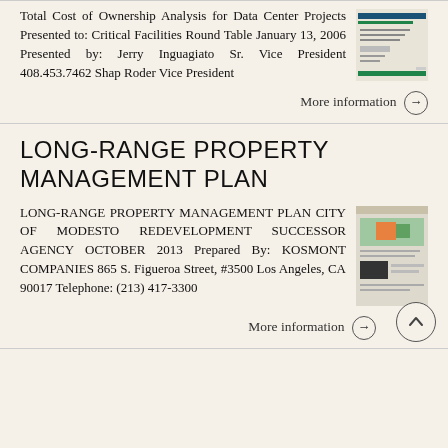Total Cost of Ownership Analysis for Data Center Projects Presented to: Critical Facilities Round Table January 13, 2006 Presented by: Jerry Inguagiato Sr. Vice President 408.453.7462 Shap Roder Vice President
More information →
LONG-RANGE PROPERTY MANAGEMENT PLAN
LONG-RANGE PROPERTY MANAGEMENT PLAN CITY OF MODESTO REDEVELOPMENT SUCCESSOR AGENCY OCTOBER 2013 Prepared By: KOSMONT COMPANIES 865 S. Figueroa Street, #3500 Los Angeles, CA 90017 Telephone: (213) 417-3300
More information →